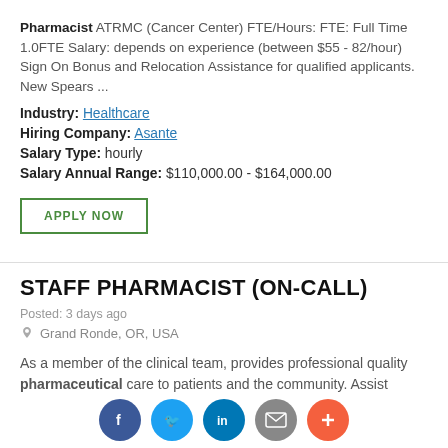Pharmacist ATRMC (Cancer Center) FTE/Hours: FTE: Full Time 1.0FTE Salary: depends on experience (between $55 - 82/hour) Sign On Bonus and Relocation Assistance for qualified applicants. New Spears ...
Industry: Healthcare
Hiring Company: Asante
Salary Type: hourly
Salary Annual Range: $110,000.00 - $164,000.00
APPLY NOW
STAFF PHARMACIST (ON-CALL)
Posted: 3 days ago
Grand Ronde, OR, USA
As a member of the clinical team, provides professional quality pharmaceutical care to patients and the community. Assist providers in determining the most